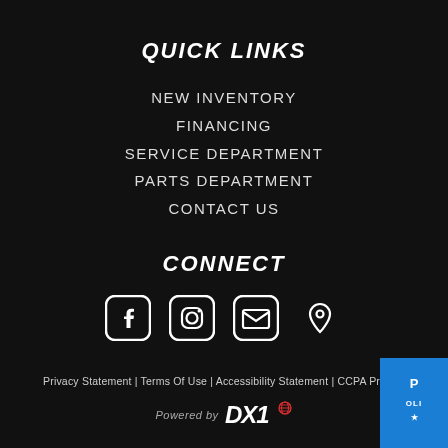QUICK LINKS
NEW INVENTORY
FINANCING
SERVICE DEPARTMENT
PARTS DEPARTMENT
CONTACT US
CONNECT
[Figure (infographic): Four social/contact icons: Facebook, Instagram, Email, Location pin]
Privacy Statement | Terms Of Use | Accessibility Statement | CCPA Privacy
[Figure (logo): Powered by DX1 logo with colored globe icon]